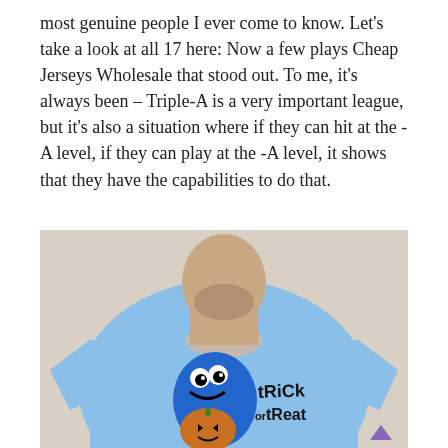most genuine people I ever come to know. Let's take a look at all 17 here: Now a few plays Cheap Jerseys Wholesale that stood out. To me, it's always been – Triple-A is a very important league, but it's also a situation where if they can hit at the -A level, if they can play at the -A level, it shows that they have the capabilities to do that.
[Figure (photo): A man wearing a light blue t-shirt featuring Cookie Monster holding a pumpkin with 'trick or treat' text, photographed against a beige background. A purple upward-pointing chevron/arrow is visible in the bottom right corner.]